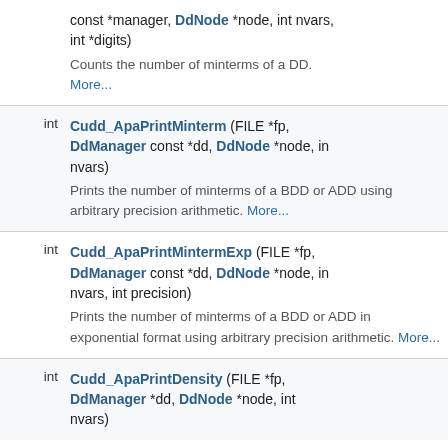| type | function signature and description |
| --- | --- |
| int | const *manager, DdNode *node, int nvars, int *digits)
Counts the number of minterms of a DD. More... |
| int | Cudd_ApaPrintMinterm (FILE *fp, DdManager const *dd, DdNode *node, int nvars)
Prints the number of minterms of a BDD or ADD using arbitrary precision arithmetic. More... |
| int | Cudd_ApaPrintMintermExp (FILE *fp, DdManager const *dd, DdNode *node, int nvars, int precision)
Prints the number of minterms of a BDD or ADD in exponential format using arbitrary precision arithmetic. More... |
| int | Cudd_ApaPrintDensity (FILE *fp, DdManager *dd, DdNode *node, int nvars) |